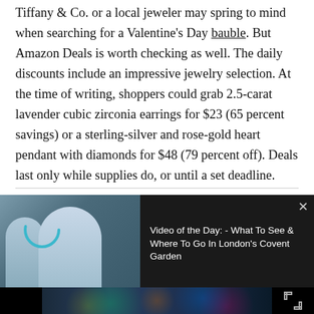Tiffany & Co. or a local jeweler may spring to mind when searching for a Valentine's Day bauble. But Amazon Deals is worth checking as well. The daily discounts include an impressive jewelry selection. At the time of writing, shoppers could grab 2.5-carat lavender cubic zirconia earrings for $23 (65 percent savings) or a sterling-silver and rose-gold heart pendant with diamonds for $48 (79 percent off). Deals last only while supplies do, or until a set deadline.
[Figure (screenshot): Video overlay thumbnail showing two women standing on a city street with a teal circular loading/play spinner, with dark background and title text 'Video of the Day: - What To See & Where To Go In London's Covent Garden' and a close button X]
[Figure (screenshot): Bottom video player bar showing a night-time city street scene with neon lights (appears to be London's West End), with black bars on left and right, and an expand/fullscreen icon on the right]